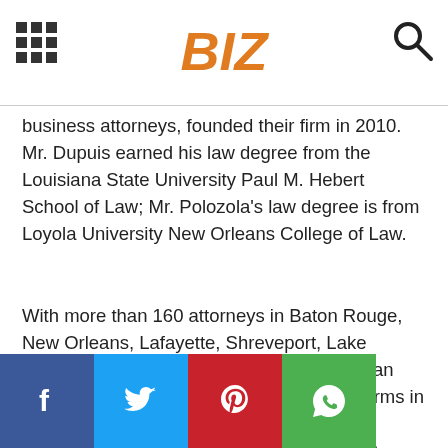BIZ
business attorneys, founded their firm in 2010. Mr. Dupuis earned his law degree from the Louisiana State University Paul M. Hebert School of Law; Mr. Polozola's law degree is from Loyola University New Orleans College of Law.
With more than 160 attorneys in Baton Rouge, New Orleans, Lafayette, Shreveport, Lake Charles, Houston, and The Woodlands, Kean Miller is one of the largest full-service law firms in the region. Founded in 1983, the firm has a particular dedication to serving Fortune 500 companies with significant operations in the South, providing them with legal resources focused on growth.